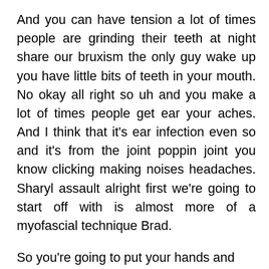And you can have tension a lot of times people are grinding their teeth at night share our bruxism the only guy wake up you have little bits of teeth in your mouth. No okay all right so uh and you make a lot of times people get ear your aches. And I think that it's ear infection even so and it's from the joint poppin joint you know clicking making noises headaches. Sharyl assault alright first we're going to start off with is almost more of a myofascial technique Brad.
So you're going to put your hands and